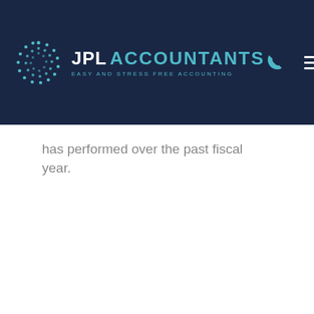[Figure (logo): JPL Accountants logo with teal circular dot-pattern icon, white JPL text, teal ACCOUNTANTS text, and tagline 'EASY AND STRESS FREE ACCOUNTING' on dark navy background header with phone and hamburger menu icons]
has performed over the past fiscal year.